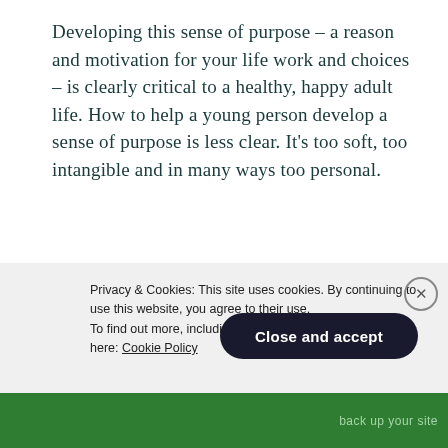Developing this sense of purpose – a reason and motivation for your life work and choices – is clearly critical to a healthy, happy adult life. How to help a young person develop a sense of purpose is less clear. It's too soft, too intangible and in many ways too personal.
How do we even talk about it with high school students?
Privacy & Cookies: This site uses cookies. By continuing to use this website, you agree to their use. To find out more, including how to control cookies, see here: Cookie Policy